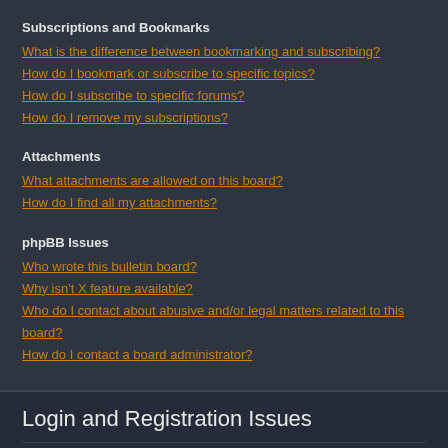Subscriptions and Bookmarks
What is the difference between bookmarking and subscribing?
How do I bookmark or subscribe to specific topics?
How do I subscribe to specific forums?
How do I remove my subscriptions?
Attachments
What attachments are allowed on this board?
How do I find all my attachments?
phpBB Issues
Who wrote this bulletin board?
Why isn't X feature available?
Who do I contact about abusive and/or legal matters related to this board?
How do I contact a board administrator?
Login and Registration Issues
Why do I need to register?
You may not have to, it is up to the administrator of the board as to whether you need to register in order to post messages. However; registration will give you access to additional features not available to guest users such as definable avatar images, private messaging, emailing of fellow users, usergroup subscription, etc. It only takes a few moments to register so it is recommended